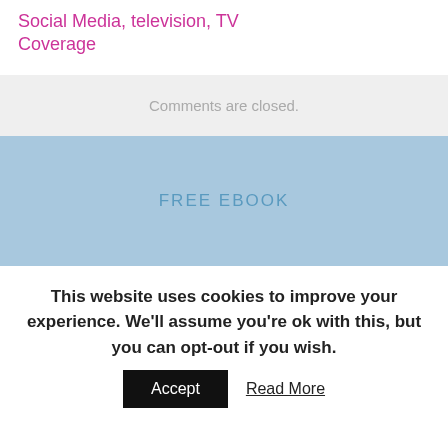Social Media, television, TV Coverage
Comments are closed.
FREE EBOOK
This website uses cookies to improve your experience. We'll assume you're ok with this, but you can opt-out if you wish.
Accept
Read More